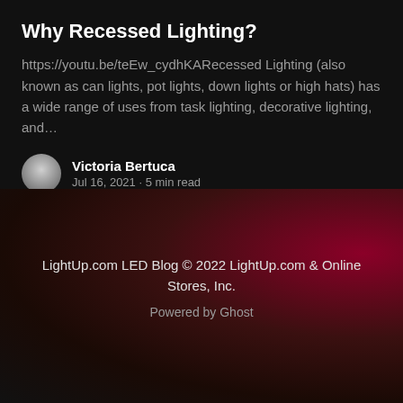Why Recessed Lighting?
https://youtu.be/teEw_cydhKARecessed Lighting (also known as can lights, pot lights, down lights or high hats) has a wide range of uses from task lighting, decorative lighting, and…
Victoria Bertuca
Jul 16, 2021 • 5 min read
LightUp.com LED Blog © 2022 LightUp.com & Online Stores, Inc.
Powered by Ghost